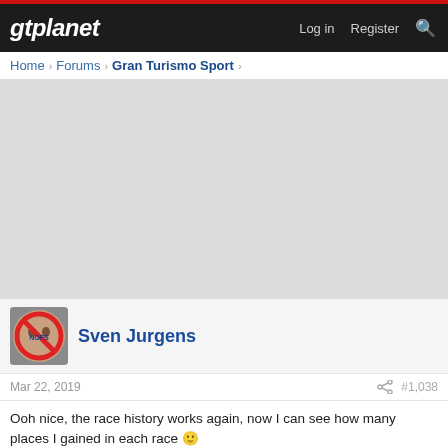gtplanet   Log in   Register
Home › Forums › Gran Turismo Sport ›
[Figure (other): Advertisement / gray placeholder area]
Sven Jurgens
Mar 22, 2019   #1,038
Ooh nice, the race history works again, now I can see how many places I gained in each race 🙂